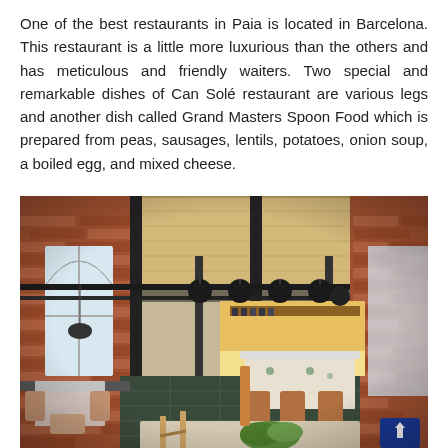One of the best restaurants in Paia is located in Barcelona. This restaurant is a little more luxurious than the others and has meticulous and friendly waiters. Two special and remarkable dishes of Can Solé restaurant are various legs and another dish called Grand Masters Spoon Food which is prepared from peas, sausages, lentils, potatoes, onion soup, a boiled egg, and mixed cheese.
[Figure (photo): Interior of an upscale restaurant with exposed brick walls, wooden ceiling panels, black steel columns and beams, glass floor sections, long dining tables with tan leather chairs, pendant lights, and a bar area visible in the background.]